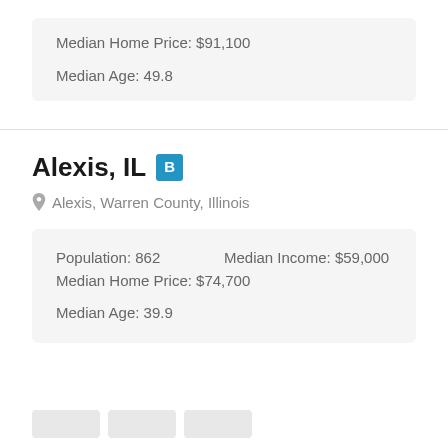Median Home Price: $91,100
Median Age: 49.8
Alexis, IL B
Alexis, Warren County, Illinois
Population: 862    Median Income: $59,000
Median Home Price: $74,700
Median Age: 39.9